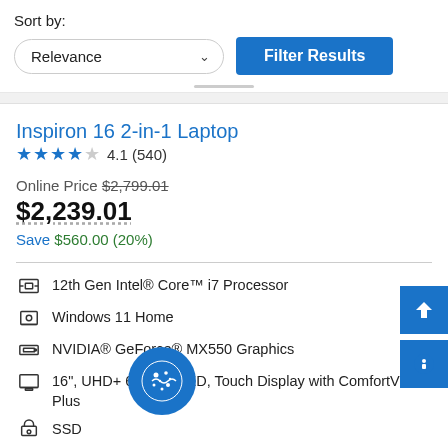Sort by:
Relevance (dropdown) | Filter Results (button)
Inspiron 16 2-in-1 Laptop
★★★★☆ 4.1 (540)
Online Price $2,799.01
$2,239.01
Save $560.00 (20%)
12th Gen Intel® Core™ i7 Processor
Windows 11 Home
NVIDIA® GeForce® MX550 Graphics
16", UHD+ 60Hz, OLED, Touch Display with ComfortView Plus
SSD
16GB Memory